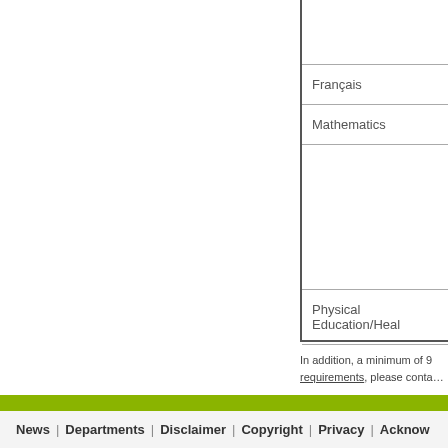| Subject |
| --- |
|  |
| Français |
| Mathematics |
|  |
| Physical Education/Hea… |
In addition, a minimum of 9… requirements, please conta…
News | Departments | Disclaimer | Copyright | Privacy | Acknow…